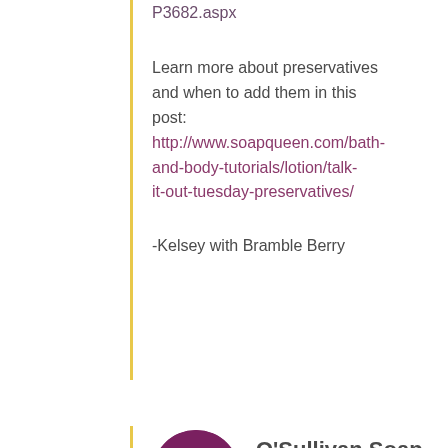P3682.aspx
Learn more about preservatives and when to add them in this post: http://www.soapqueen.com/bath-and-body-tutorials/lotion/talk-it-out-tuesday-preservatives/
-Kelsey with Bramble Berry
[Figure (illustration): Purple circular avatar with white lotus/flower icon for O'Sullivan Soap Co.]
O'Sullivan Soap Co. says
February 23, 2016 at 8:34...